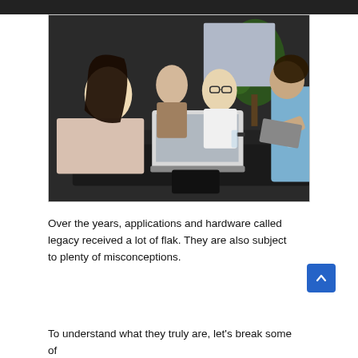[Figure (photo): Group of young professionals sitting around a conference table with laptops, having a meeting in an office setting with plants in the background.]
Over the years, applications and hardware called legacy received a lot of flak. They are also subject to plenty of misconceptions.
To understand what they truly are, let’s break some of